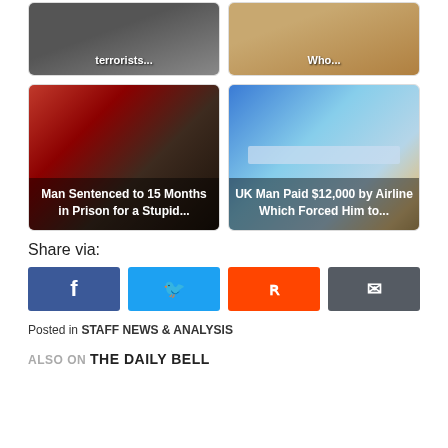[Figure (photo): Top-left card with dark background, text overlay: 'terrorists...']
[Figure (photo): Top-right card with sandy/beach background, text overlay: 'Who...']
[Figure (photo): Middle-left card with face/beard image, text overlay: 'Man Sentenced to 15 Months in Prison for a Stupid...']
[Figure (photo): Middle-right card with globe image, text overlay: 'UK Man Paid $12,000 by Airline Which Forced Him to...']
Share via:
[Figure (infographic): Social share buttons: Facebook, Twitter, Reddit, Email]
Posted in STAFF NEWS & ANALYSIS
ALSO ON THE DAILY BELL